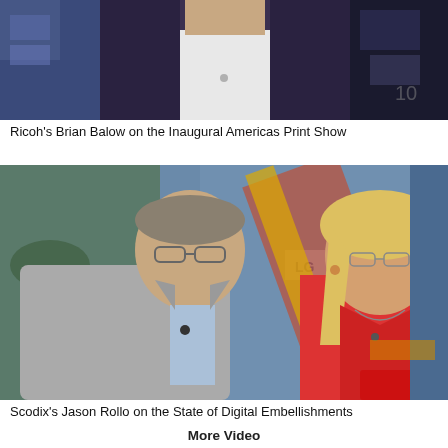[Figure (photo): Man in dark blazer and white shirt, seated in a TV studio setting with colorful background]
Ricoh's Brian Balow on the Inaugural Americas Print Show
[Figure (photo): Man in grey blazer and woman in red sleeveless top, standing in a TV studio with city backdrop]
Scodix's Jason Rollo on the State of Digital Embellishments
More Video